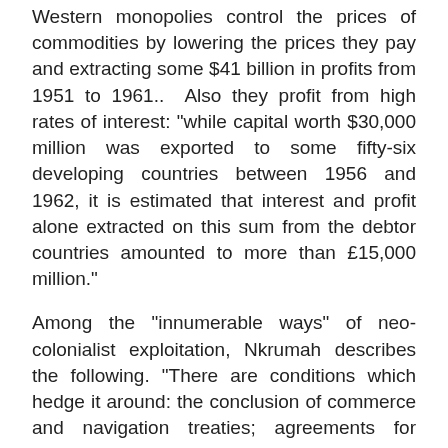Western monopolies control the prices of commodities by lowering the prices they pay and extracting some $41 billion in profits from 1951 to 1961.. Also they profit from high rates of interest: "while capital worth $30,000 million was exported to some fifty-six developing countries between 1956 and 1962, it is estimated that interest and profit alone extracted on this sum from the debtor countries amounted to more than £15,000 million."
Among the "innumerable ways" of neo-colonialist exploitation, Nkrumah describes the following. "There are conditions which hedge it around: the conclusion of commerce and navigation treaties; agreements for economic co-operation; the right to meddle in internal finances, including currency and foreign exchange, to lower trade barriers in favour of the donor country's goods and capital; to protect the interests of private investments; determination of